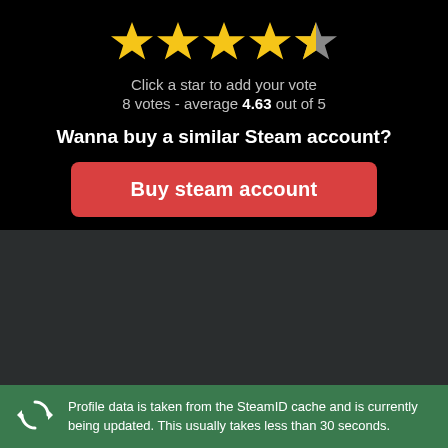[Figure (other): Star rating widget showing 4.5 filled stars out of 5 (4 full gold stars and 1 partial/empty star)]
Click a star to add your vote
8 votes - average 4.63 out of 5
Wanna buy a similar Steam account?
Buy steam account
[Figure (other): Dark gray empty content area]
Profile data is taken from the SteamID cache and is currently being updated. This usually takes less than 30 seconds.